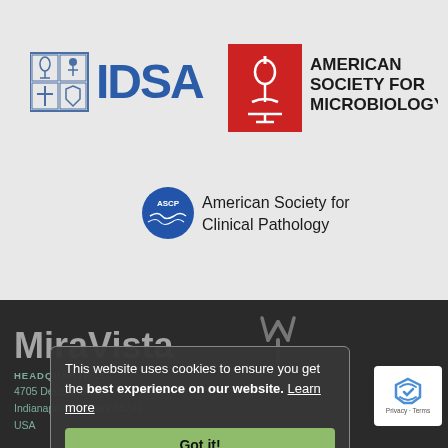[Figure (logo): IDSA logo with small institutional icon and blue text reading IDSA]
[Figure (logo): American Society for Microbiology logo with red box containing white microscope silhouette and black text AMERICAN SOCIETY FOR MICROBIOLOGY]
[Figure (logo): ASCP logo with circular blue badge and text American Society for Clinical Pathology]
[Figure (logo): MiraVista logo with antibody Y-shape icon on dark background]
This website uses cookies to ensure you get the best experience on our website. Learn more
Got it!
HEADQUARTERS:
4705 Decatur Blvd.
Indianapolis, Indiana 46241
USA